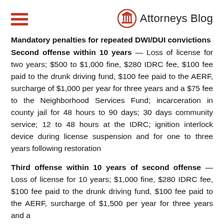Attorneys Blog
Mandatory penalties for repeated DWI/DUI convictions
Second offense within 10 years — Loss of license for two years; $500 to $1,000 fine, $280 IDRC fee, $100 fee paid to the drunk driving fund, $100 fee paid to the AERF, surcharge of $1,000 per year for three years and a $75 fee to the Neighborhood Services Fund; incarceration in county jail for 48 hours to 90 days; 30 days community service; 12 to 48 hours at the IDRC; ignition interlock device during license suspension and for one to three years following restoration
Third offense within 10 years of second offense — Loss of license for 10 years; $1,000 fine, $280 IDRC fee, $100 fee paid to the drunk driving fund, $100 fee paid to the AERF, surcharge of $1,500 per year for three years and a